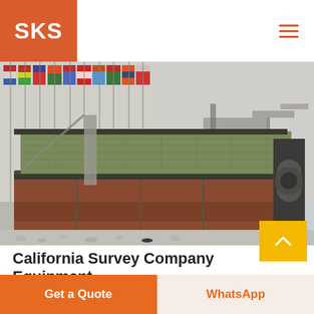SKS
[Figure (photo): Industrial vibrating screen / screening machine displayed in a large factory hall with international flags hanging from the ceiling. The machine is a large multi-deck vibrating screen with dark metal frame and reddish-brown screen decks, surrounded by gravel on the floor. Additional heavy machinery is visible in the background.]
California Survey Company Equipment
Get a Quote
WhatsApp